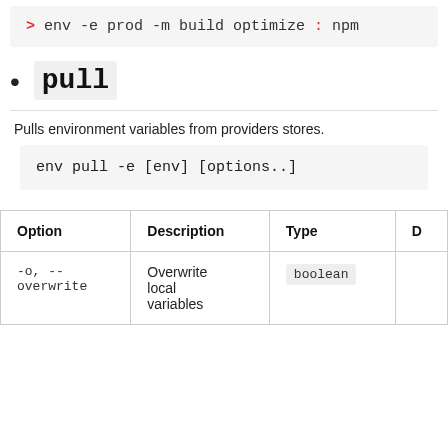[Figure (screenshot): Code block showing: > env -e prod -m build optimize : npm]
pull
Pulls environment variables from providers stores.
[Figure (screenshot): Code block showing: env pull -e [env] [options..]]
| Option | Description | Type | D |
| --- | --- | --- | --- |
| -o, --overwrite | Overwrite local variables | boolean |  |